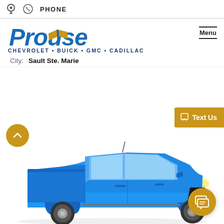PHONE
[Figure (logo): Prouse Chevrolet Buick GMC Cadillac dealer logo in blue with gold Chevrolet bowtie]
Menu
City: Sault Ste. Marie
Text Us
[Figure (photo): Blue GMC Sierra pickup truck, front three-quarter view, on white background]